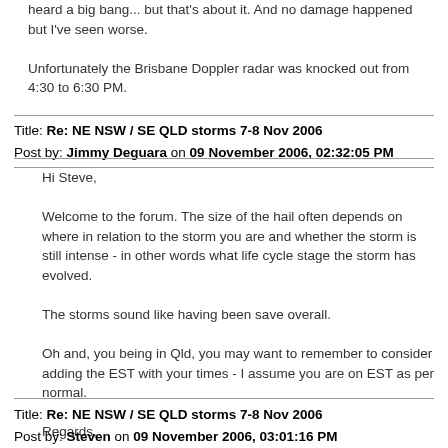heard a big bang... but that's about it. And no damage happened but I've seen worse.

Unfortunately the Brisbane Doppler radar was knocked out from 4:30 to 6:30 PM.
Title: Re: NE NSW / SE QLD storms 7-8 Nov 2006
Post by: Jimmy Deguara on 09 November 2006, 02:32:05 PM
Hi Steve,

Welcome to the forum. The size of the hail often depends on where in relation to the storm you are and whether the storm is still intense - in other words what life cycle stage the storm has evolved.

The storms sound like having been save overall.

Oh and, you being in Qld, you may want to remember to consider adding the EST with your times - I assume you are on EST as per normal.

Regards,

Jimmy Deguara
Title: Re: NE NSW / SE QLD storms 7-8 Nov 2006
Post by: Steven on 09 November 2006, 03:01:16 PM